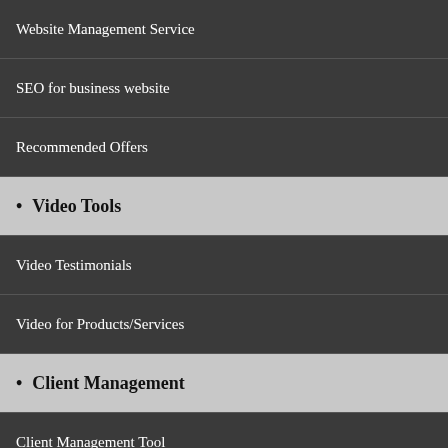Website Management Service
SEO for business website
Recommended Offers
• Video Tools
Video Testimonials
Video for Products/Services
• Client Management
Client Management Tool
Client Bonus
ClientUpdate